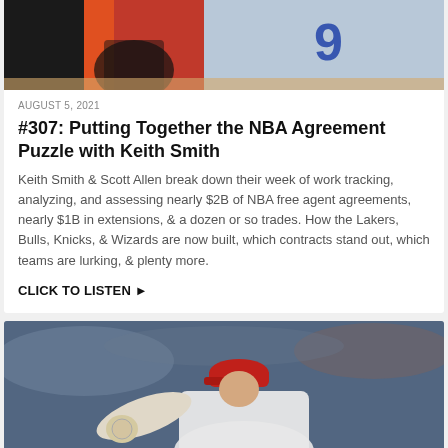[Figure (photo): Sports photo showing a basketball player wearing number 9 in white uniform, with orange and black background elements]
AUGUST 5, 2021
#307: Putting Together the NBA Agreement Puzzle with Keith Smith
Keith Smith & Scott Allen break down their week of work tracking, analyzing, and assessing nearly $2B of NBA free agent agreements, nearly $1B in extensions, & a dozen or so trades. How the Lakers, Bulls, Knicks, & Wizards are now built, which contracts stand out, which teams are lurking, & plenty more.
CLICK TO LISTEN ▶
[Figure (photo): Baseball pitcher wearing a red cap and white uniform, winding up to throw a pitch, stadium crowd in blurred background]